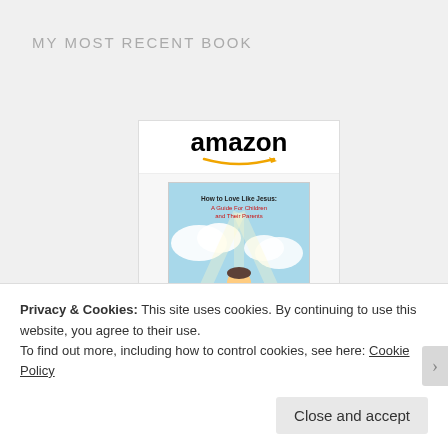MY MOST RECENT BOOK
[Figure (other): Amazon product widget showing the book 'How to Love Like Jesus: A...' priced at $9.99 with Prime badge and Shop now button. The book cover shows a child with arms outstretched on a bright background.]
Privacy & Cookies: This site uses cookies. By continuing to use this website, you agree to their use.
To find out more, including how to control cookies, see here: Cookie Policy
Close and accept